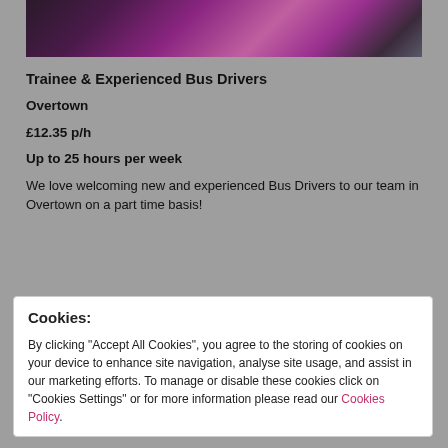[Figure (photo): Partial photo of people in dark and purple/magenta clothing, cropped at top of page]
Trainee & Experienced Bus Drivers
Overtown
£12.35 p/h
Up to 25 hours per week
We love welcoming new and experienced Bus Drivers to our team in Overtown on a part time basis!
Cookies:
By clicking "Accept All Cookies", you agree to the storing of cookies on your device to enhance site navigation, analyse site usage, and assist in our marketing efforts. To manage or disable these cookies click on "Cookies Settings" or for more information please read our Cookies Policy.